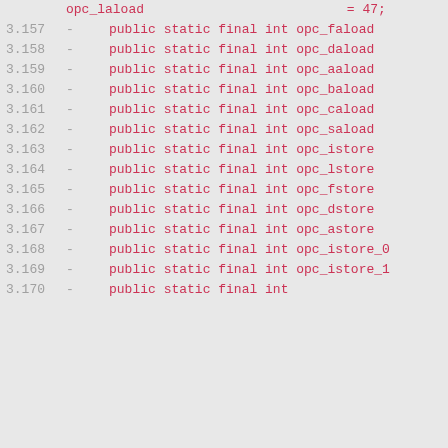opc_laload = 47;
3.157 -    public static final int opc_faload = 48;
3.158 -    public static final int opc_daload = 49;
3.159 -    public static final int opc_aaload = 50;
3.160 -    public static final int opc_baload = 51;
3.161 -    public static final int opc_caload = 52;
3.162 -    public static final int opc_saload = 53;
3.163 -    public static final int opc_istore = 54;
3.164 -    public static final int opc_lstore = 55;
3.165 -    public static final int opc_fstore = 56;
3.166 -    public static final int opc_dstore = 57;
3.167 -    public static final int opc_astore = 58;
3.168 -    public static final int opc_istore_0 = 59;
3.169 -    public static final int opc_istore_1 = 60;
3.170 -    public static final int